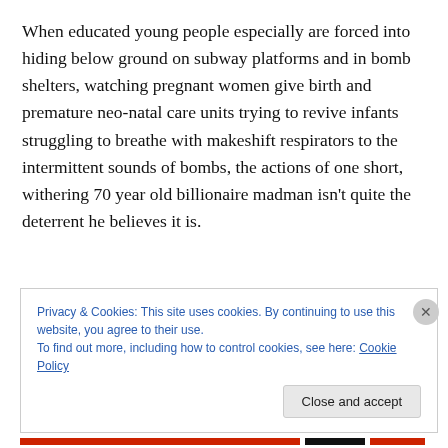When educated young people especially are forced into hiding below ground on subway platforms and in bomb shelters, watching pregnant women give birth and premature neo-natal care units trying to revive infants struggling to breathe with makeshift respirators to the intermittent sounds of bombs, the actions of one short, withering 70 year old billionaire madman isn't quite the deterrent he believes it is.
Privacy & Cookies: This site uses cookies. By continuing to use this website, you agree to their use.
To find out more, including how to control cookies, see here: Cookie Policy